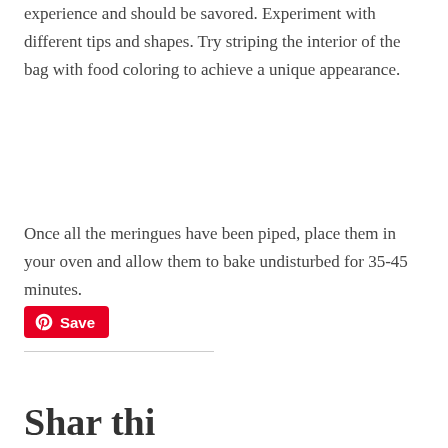experience and should be savored. Experiment with different tips and shapes. Try striping the interior of the bag with food coloring to achieve a unique appearance.
Once all the meringues have been piped, place them in your oven and allow them to bake undisturbed for 35-45 minutes.
[Figure (other): Pinterest Save button with Pinterest logo icon]
Shar thi...